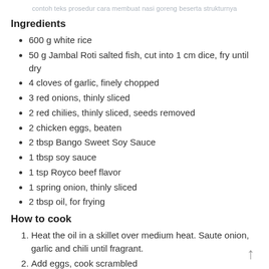contoh teks prosedur cara membuat nasi goreng beserta strukturnya
Ingredients
600 g white rice
50 g Jambal Roti salted fish, cut into 1 cm dice, fry until dry
4 cloves of garlic, finely chopped
3 red onions, thinly sliced
2 red chilies, thinly sliced, seeds removed
2 chicken eggs, beaten
2 tbsp Bango Sweet Soy Sauce
1 tbsp soy sauce
1 tsp Royco beef flavor
1 spring onion, thinly sliced
2 tbsp oil, for frying
How to cook
Heat the oil in a skillet over medium heat. Saute onion, garlic and chili until fragrant.
Add eggs, cook scrambled